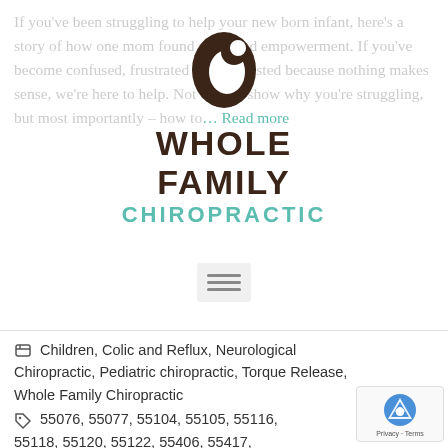If you've been struggling to help your new born infant, here's a story of how one mom found relief and empowerment. If you've become confused, frustrated and exhausted because nothing makes sense, we're here to help. Not only to show why you're struggling, but most importantly – how to… Read more
[Figure (logo): Whole Family Chiropractic logo: dark brown fetal/swirl icon above bold text 'WHOLE FAMILY' in dark brown and 'CHIROPRACTIC' in teal/mint below]
Children, Colic and Reflux, Neurological Chiropractic, Pediatric chiropractic, Torque Release, Whole Family Chiropractic
55076, 55077, 55104, 55105, 55116, 55118, 55120, 55122, 55406, 55417, alternative, babies, body, brain, care